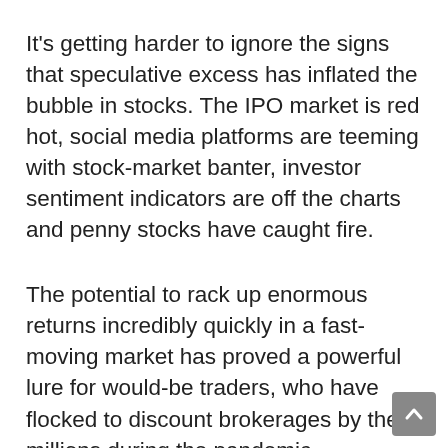It's getting harder to ignore the signs that speculative excess has inflated the bubble in stocks. The IPO market is red hot, social media platforms are teeming with stock-market banter, investor sentiment indicators are off the charts and penny stocks have caught fire.
The potential to rack up enormous returns incredibly quickly in a fast-moving market has proved a powerful lure for would-be traders, who have flocked to discount brokerages by the millions during the pandemic.
With time to kill and cash to burn, many have found a lucrative pastime in day trading. A variety of discount